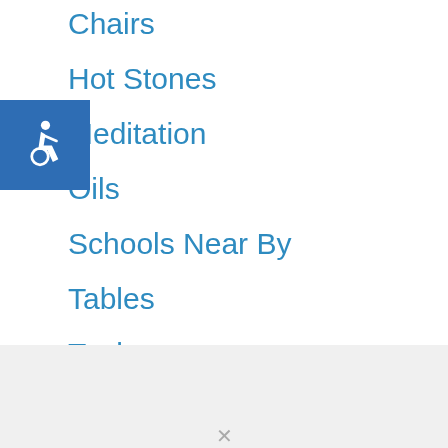Chairs
Hot Stones
Meditation
Oils
Schools Near By
Tables
Tools
[Figure (logo): Blue square accessibility icon with wheelchair symbol in white]